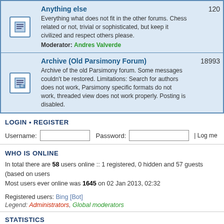|  | Forum | Count |
| --- | --- | --- |
| [icon] | Anything else
Everything what does not fit in the other forums. Chess related or not, trivial or sophisticated, but keep it civilized and respect others please.
Moderator: Andres Valverde | 120 |
| [icon] | Archive (Old Parsimony Forum)
Archive of the old Parsimony forum. Some messages couldn't be restored. Limitations: Search for authors does not work, Parsimony specific formats do not work, threaded view does not work properly. Posting is disabled. | 18993 |
LOGIN • REGISTER
Username: [input] Password: [input] | Log me on autom
WHO IS ONLINE
In total there are 58 users online :: 1 registered, 0 hidden and 57 guests (based on users
Most users ever online was 1645 on 02 Jan 2013, 02:32
Registered users: Bing [Bot]
Legend: Administrators, Global moderators
STATISTICS
Total posts 99158 • Total topics 23524 • Total members 1938 • Our newest member tyme
Board index | The team • Delete all
Powered by phpBB® Forum Software © phpBB Gr